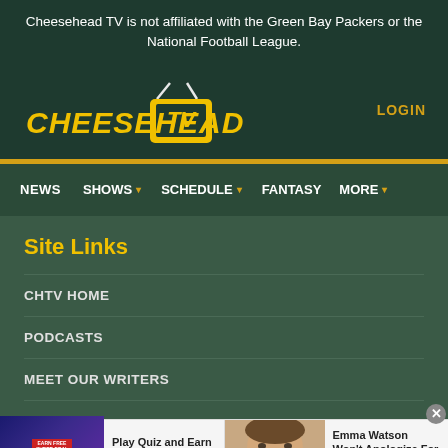Cheesehead TV is not affiliated with the Green Bay Packers or the National Football League.
[Figure (logo): Cheesehead TV logo with yellow italic text and TV box icon]
LOGIN
NEWS  SHOWS  SCHEDULE  FANTASY  MORE
Site Links
CHTV HOME
PODCASTS
MEET OUR WRITERS
[Figure (infographic): Ad: Play Quiz and Earn Coins - Ad by Quizzop, with game artwork showing superhero and prize of 50,000]
[Figure (infographic): Ad: Emma Watson Won't Apologize For Her New Car - Addy Nubby, with photo of Emma Watson]